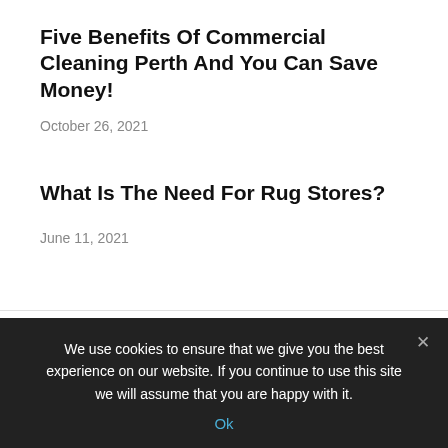Five Benefits Of Commercial Cleaning Perth And You Can Save Money!
October 26, 2021
What Is The Need For Rug Stores?
June 11, 2021
PREVIOUS ARTICLE
How Automatic Garage Doors Can Make Your Life Easier
NEXT ARTICLE
A Trustworthy And Satisfactory Service
We use cookies to ensure that we give you the best experience on our website. If you continue to use this site we will assume that you are happy with it.
Ok